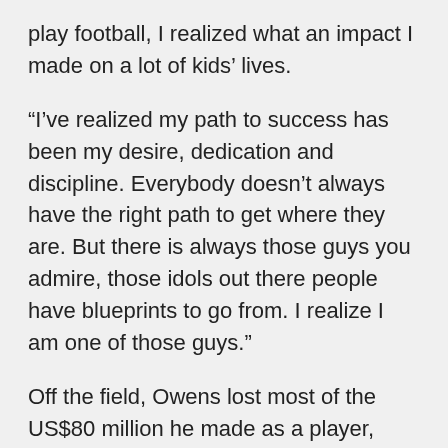play football, I realized what an impact I made on a lot of kids' lives.
“I’ve realized my path to success has been my desire, dedication and discipline. Everybody doesn’t always have the right path to get where they are. But there is always those guys you admire, those idols out there people have blueprints to go from. I realize I am one of those guys.”
Off the field, Owens lost most of the US$80 million he made as a player, partly due to bad investments and business deals. In September of 2006 he was found unresponsive with an empty bottle of pain killers. Owens’ publicist denied reports of a suicide attempt, saying instead it was an allergic reaction to the